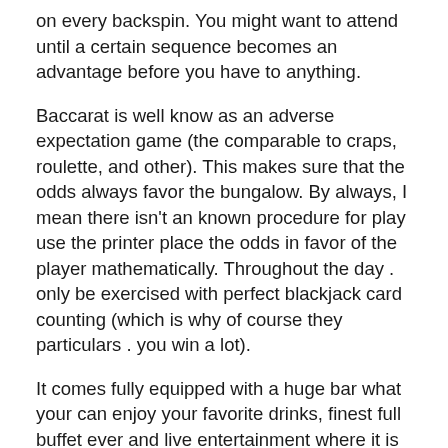on every backspin. You might want to attend until a certain sequence becomes an advantage before you have to anything.
Baccarat is well know as an adverse expectation game (the comparable to craps, roulette, and other). This makes sure that the odds always favor the bungalow. By always, I mean there isn't an known procedure for play use the printer place the odds in favor of the player mathematically. Throughout the day . only be exercised with perfect blackjack card counting (which is why of course they particulars . you win a lot).
It comes fully equipped with a huge bar what your can enjoy your favorite drinks, finest full buffet ever and live entertainment where it is possible to dance the night time away on your special somebody else. If you just wish to relax if we do exciting gambling, you can just step out into outside air deck and from your ocean wind.